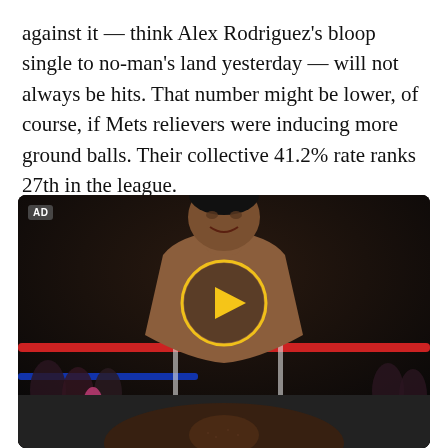against it — think Alex Rodriguez's bloop single to no-man's land yesterday — will not always be hits. That number might be lower, of course, if Mets relievers were inducing more ground balls. Their collective 41.2% rate ranks 27th in the league.
[Figure (photo): Video advertisement showing a shirtless male boxer in a boxing ring under stage lighting, smiling at the camera. A yellow circular play button is overlaid at the center of the image. An 'AD' badge appears in the top-left corner. The lower portion shows a close-up of another fighter's face.]